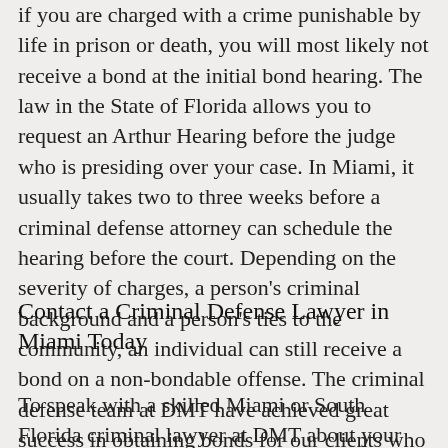if you are charged with a crime punishable by life in prison or death, you will most likely not receive a bond at the initial bond hearing. The law in the State of Florida allows you to request an Arthur Hearing before the judge who is presiding over your case. In Miami, it usually takes two to three weeks before a criminal defense attorney can schedule the hearing before the court. Depending on the severity of charges, a person's criminal background and a person's ties to the community, an individual can still receive a bond on a non-bondable offense. The criminal defense team at DMT have achieved great success in obtaining bonds for our clients who are initially refused a bond.
Contact a Criminal Defense Lawyer in Miami Today
To speak with a skilled Miami or South Florida criminal lawyer at DMT about your bond status, or if you have questions regarding your bond status that need to be